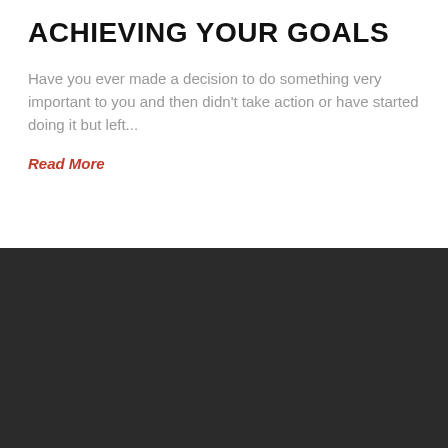ACHIEVING YOUR GOALS
Have you ever made a decision to do something very important to you and then didn't take action or have started doing it but left...
Read More
[Figure (screenshot): Dark overlay consent dialog on a website with profile avatar, privacy consent text, Privacy Preferences link, and I Agree button]
By pressing the "submit" button, you confirm that you have read and agree to our Terms and Conditions & Privacy Policy
Privacy Preferences
I Agree